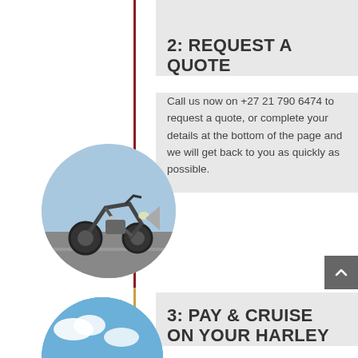[Figure (photo): Circular cropped photo of a Harley-Davidson motorcycle parked on a road, shot from a front-side angle with sky and road visible]
2: REQUEST A QUOTE
Call us now on +27 21 790 6474 to request a quote, or complete your details at the bottom of the page and we will get back to you as quickly as possible.
3: PAY & CRUISE ON YOUR HARLEY
Once payment is made and
[Figure (photo): Circular cropped photo showing a blue sky scene, partially visible at the bottom of the page]